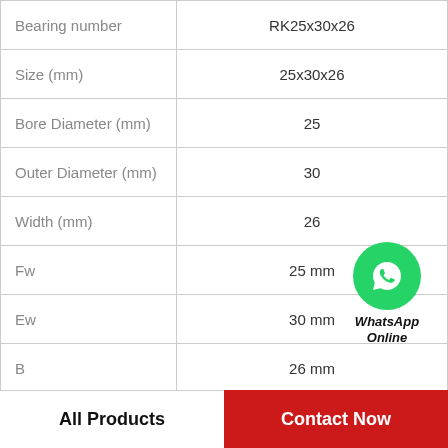|  |  |
| --- | --- |
| Bearing number | RK25x30x26 |
| Size (mm) | 25x30x26 |
| Bore Diameter (mm) | 25 |
| Outer Diameter (mm) | 30 |
| Width (mm) | 26 |
| Fw | 25 mm |
| Ew | 30 mm |
| B | 26 mm |
| Weight | 0,027 Kg |
[Figure (logo): WhatsApp green circle icon with phone handset, labeled WhatsApp Online in bold italic]
All Products   Contact Now